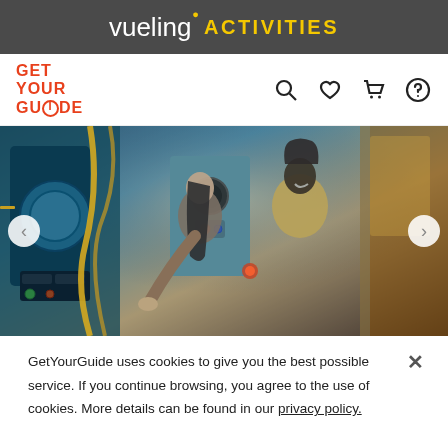vueling · ACTIVITIES
[Figure (logo): GetYourGuide logo in red text, stacked GET / YOUR / GUIDE]
[Figure (photo): Two people smiling and interacting with arcade/escape room machines in a colorful industrial-themed room. Carousel with left and right arrows.]
GetYourGuide uses cookies to give you the best possible service. If you continue browsing, you agree to the use of cookies. More details can be found in our privacy policy.